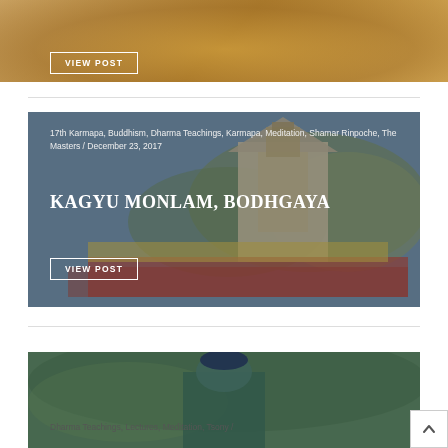[Figure (photo): Top cropped image showing golden Buddha statue or similar gold-colored religious figure]
VIEW POST
[Figure (photo): Photo of Kagyu Monlam at Bodhgaya showing a Hindu/Buddhist temple (Mahabodhi style) in background with monks in red robes gathered in front]
17th Karmapa, Buddhism, Dharma Teachings, Karmapa, Meditation, Shamar Rinpoche, The Masters / December 23, 2017
KAGYU MONLAM, BODHGAYA
VIEW POST
[Figure (photo): Bottom cropped image showing a religious master or teacher in traditional robes]
Dharma Teachings, Lectures, Meditation, Tsony /